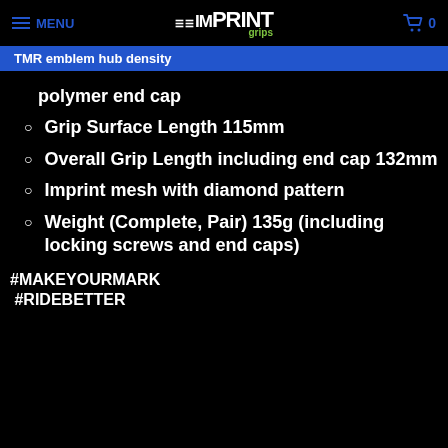MENU | IMPRINT grips | 0
TMR emblem hub density
polymer end cap
Grip Surface Length 115mm
Overall Grip Length including end cap 132mm
Imprint mesh with diamond pattern
Weight (Complete, Pair) 135g (including locking screws and end caps)
#MAKEYOURMARK
#RIDEBETTER